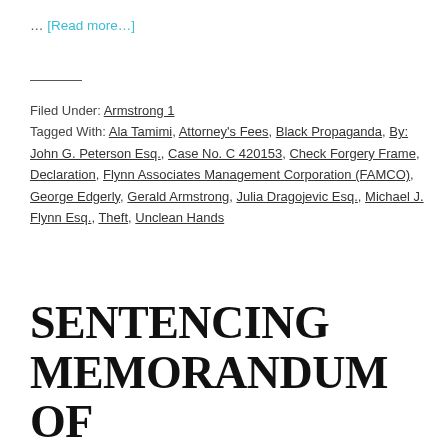… [Read more…]
Filed Under: Armstrong 1
Tagged With: Ala Tamimi, Attorney's Fees, Black Propaganda, By: John G. Peterson Esq., Case No. C 420153, Check Forgery Frame, Declaration, Flynn Associates Management Corporation (FAMCO), George Edgerly, Gerald Armstrong, Julia Dragojevic Esq., Michael J. Flynn Esq., Theft, Unclean Hands
SENTENCING MEMORANDUM OF THE UNITED STATES